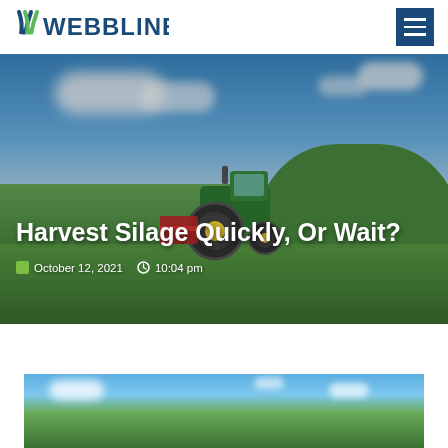WEBBLINE
[Figure (photo): Hero banner image showing a green tractor with red harvesting equipment on a lush green hillside under a blue sky with white clouds. Article title 'Harvest Silage Quickly, Or Wait?' overlaid in white text, with date 'October 12, 2021' and time '10:04 pm' metadata below.]
Harvest Silage Quickly, Or Wait?
October 12, 2021  10:04 pm
[Figure (photo): Partial view of another outdoor agricultural scene showing blue sky and green landscape, cropped at bottom of page.]